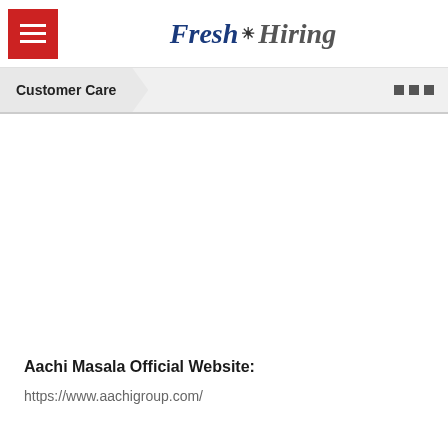Fresh Hiring
Customer Care
Aachi Masala Official Website:
https://www.aachigroup.com/